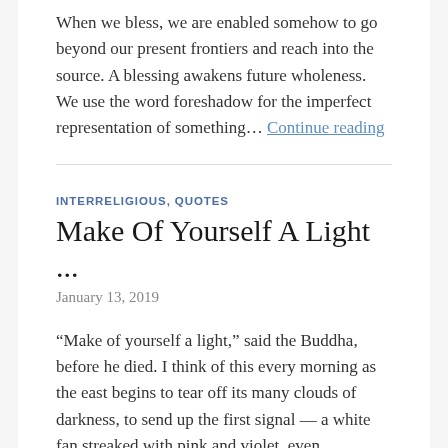When we bless, we are enabled somehow to go beyond our present frontiers and reach into the source. A blessing awakens future wholeness. We use the word foreshadow for the imperfect representation of something… Continue reading
INTERRELIGIOUS, QUOTES
Make Of Yourself A Light ...
January 13, 2019
“Make of yourself a light,” said the Buddha, before he died. I think of this every morning as the east begins to tear off its many clouds of darkness, to send up the first signal — a white fan streaked with pink and violet, even